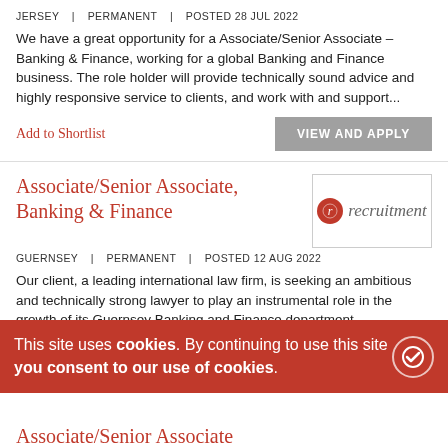JERSEY | PERMANENT | POSTED 28 JUL 2022
We have a great opportunity for a Associate/Senior Associate – Banking & Finance, working for a global Banking and Finance business. The role holder will provide technically sound advice and highly responsive service to clients, and work with and support...
Add to Shortlist
VIEW AND APPLY
Associate/Senior Associate, Banking & Finance
[Figure (logo): Recruitment agency logo with red circle icon and italic text 'recruitment']
GUERNSEY | PERMANENT | POSTED 12 AUG 2022
Our client, a leading international law firm, is seeking an ambitious and technically strong lawyer to play an instrumental role in the growth of its Guernsey Banking and Finance department.
Add to
This site uses cookies. By continuing to use this site you consent to our use of cookies.
Associate/Senior Associate